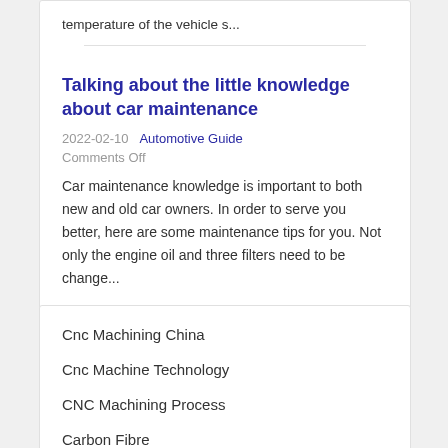temperature of the vehicle s...
Talking about the little knowledge about car maintenance
2022-02-10    Automotive Guide
Comments Off
Car maintenance knowledge is important to both new and old car owners. In order to serve you better, here are some maintenance tips for you. Not only the engine oil and three filters need to be change...
Cnc Machining China
Cnc Machine Technology
CNC Machining Process
Carbon Fibre
Titanium Machining